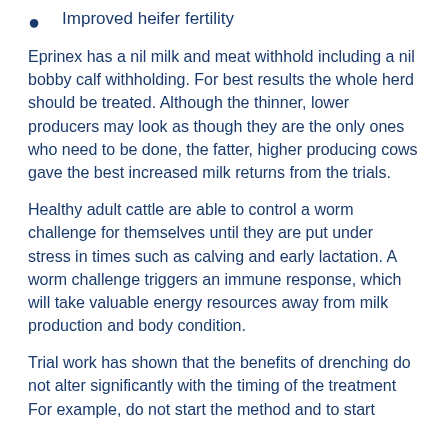Improved heifer fertility
Eprinex has a nil milk and meat withhold including a nil bobby calf withholding. For best results the whole herd should be treated. Although the thinner, lower producers may look as though they are the only ones who need to be done, the fatter, higher producing cows gave the best increased milk returns from the trials.
Healthy adult cattle are able to control a worm challenge for themselves until they are put under stress in times such as calving and early lactation. A worm challenge triggers an immune response, which will take valuable energy resources away from milk production and body condition.
Trial work has shown that the benefits of drenching do not alter significantly with the timing of the treatment For example, do not start the method and to start